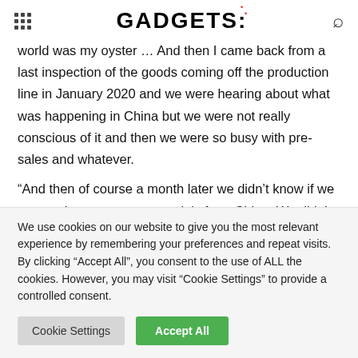GADGETS:
world was my oyster … And then I came back from a last inspection of the goods coming off the production line in January 2020 and we were hearing about what was happening in China but we were not really conscious of it and then we were so busy with pre-sales and whatever.
“And then of course a month later we didn’t know if we were going to get raw materials from China. We didn’t know if the factories that were working within Europe were going to even be able to
We use cookies on our website to give you the most relevant experience by remembering your preferences and repeat visits. By clicking “Accept All”, you consent to the use of ALL the cookies. However, you may visit “Cookie Settings” to provide a controlled consent.